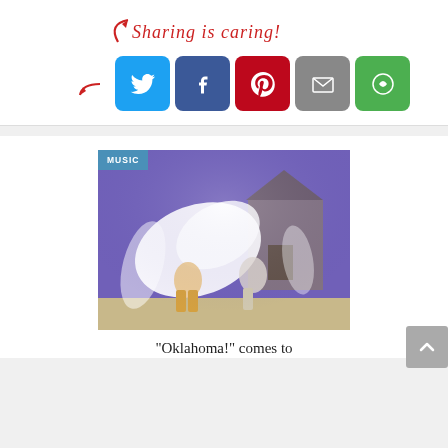[Figure (infographic): Sharing is caring! social sharing widget with a red cursive label and arrow, followed by five social media share buttons: Twitter (blue), Facebook (dark blue), Pinterest (red), Email (grey), and More (green).]
[Figure (photo): A theatre stage photo showing dancers performing in a production of Oklahoma!, with a purple-lit stage background, a barn set piece, and dancers in motion with flowing white fabric costumes. A teal 'MUSIC' badge overlays the top-left corner.]
“Oklahoma!” comes to